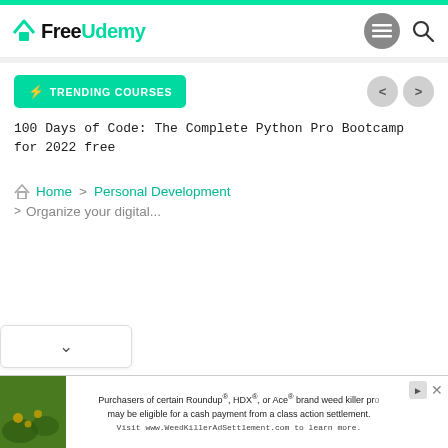[Figure (logo): FreeUdemy logo with teal house icon and teal/black text]
TRENDING COURSES
100 Days of Code: The Complete Python Pro Bootcamp for 2022 free
Home > Personal Development > Organize your digital...
[Figure (screenshot): Advertisement banner: Purchasers of certain Roundup, HDX, or Ace brand weed killer products may be eligible for a cash payment from a class action settlement. Visit www.WeedKillerAdSettlement.com to learn more.]